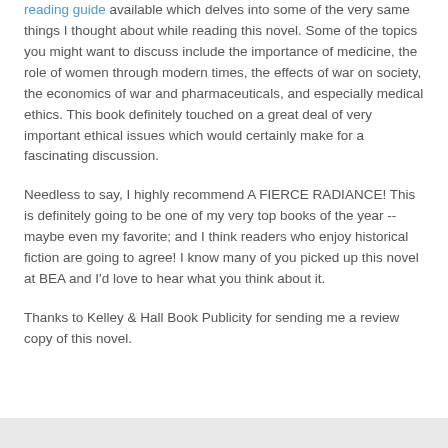reading guide available which delves into some of the very same things I thought about while reading this novel. Some of the topics you might want to discuss include the importance of medicine, the role of women through modern times, the effects of war on society, the economics of war and pharmaceuticals, and especially medical ethics. This book definitely touched on a great deal of very important ethical issues which would certainly make for a fascinating discussion.
Needless to say, I highly recommend A FIERCE RADIANCE! This is definitely going to be one of my very top books of the year -- maybe even my favorite; and I think readers who enjoy historical fiction are going to agree! I know many of you picked up this novel at BEA and I'd love to hear what you think about it.
Thanks to Kelley & Hall Book Publicity for sending me a review copy of this novel.